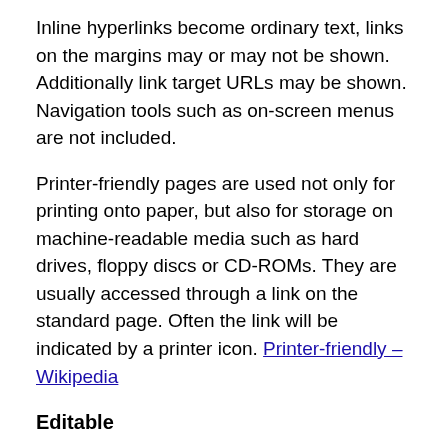Inline hyperlinks become ordinary text, links on the margins may or may not be shown. Additionally link target URLs may be shown. Navigation tools such as on-screen menus are not included.
Printer-friendly pages are used not only for printing onto paper, but also for storage on machine-readable media such as hard drives, floppy discs or CD-ROMs. They are usually accessed through a link on the standard page. Often the link will be indicated by a printer icon. Printer-friendly – Wikipedia
Editable
Editing is the process of selecting and preparing writing, photography, visual, audible, and film media used to convey information. The editing process can involve correction, condensation, organization, and many other